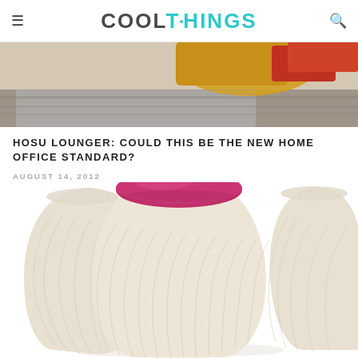COOLTHINGS
[Figure (photo): Top banner photo showing colorful pillows and carpet/rug, warm tones of yellow, orange, red on gray textured surface]
HOSU LOUNGER: COULD THIS BE THE NEW HOME OFFICE STANDARD?
AUGUST 14, 2012
[Figure (photo): Product photo of three Hosu Lounger stools/ottomans with light wood grain texture finish, tapered cylindrical shape, one in center with a round magenta/pink cushioned top, against white background]